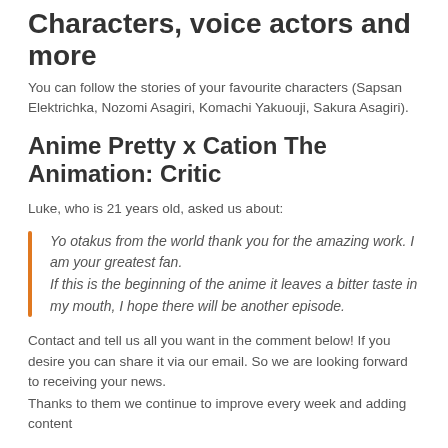Characters, voice actors and more
You can follow the stories of your favourite characters (Sapsan Elektrichka, Nozomi Asagiri, Komachi Yakuouji, Sakura Asagiri).
Anime Pretty x Cation The Animation: Critic
Luke, who is 21 years old, asked us about:
Yo otakus from the world thank you for the amazing work. I am your greatest fan.
If this is the beginning of the anime it leaves a bitter taste in my mouth, I hope there will be another episode.
Contact and tell us all you want in the comment below! If you desire you can share it via our email. So we are looking forward to receiving your news.
Thanks to them we continue to improve every week and adding content